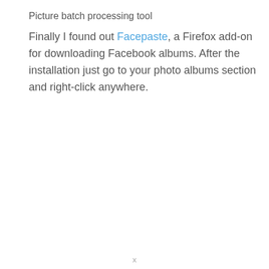Picture batch processing tool
Finally I found out Facepaste, a Firefox add-on for downloading Facebook albums. After the installation just go to your photo albums section and right-click anywhere.